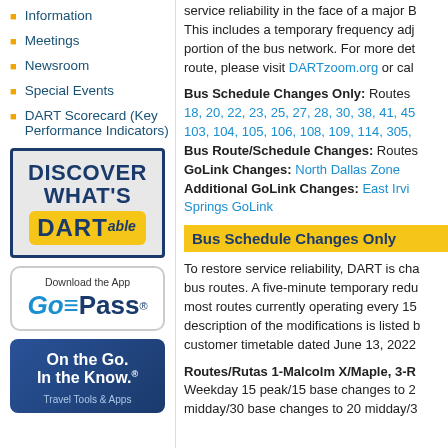Information
Meetings
Newsroom
Special Events
DART Scorecard (Key Performance Indicators)
[Figure (logo): DISCOVER WHAT'S DARTable advertisement box]
[Figure (logo): GoPass app download box]
[Figure (logo): On the Go. In the Know. travel tools and apps box]
service reliability in the face of a major B... This includes a temporary frequency adj... portion of the bus network. For more det... route, please visit DARTzoom.org or cal...
Bus Schedule Changes Only: Routes 18, 20, 22, 23, 25, 27, 28, 30, 38, 41, 45... 103, 104, 105, 106, 108, 109, 114, 305,... Bus Route/Schedule Changes: Routes... GoLink Changes: North Dallas Zone Additional GoLink Changes: East Irvi... Springs GoLink
Bus Schedule Changes Only
To restore service reliability, DART is cha... bus routes. A five-minute temporary redu... most routes currently operating every 15... description of the modifications is listed b... customer timetable dated June 13, 2022
Routes/Rutas 1-Malcolm X/Maple, 3-R... Weekday 15 peak/15 base changes to 2... midday/30 base changes to 20 midday/3...